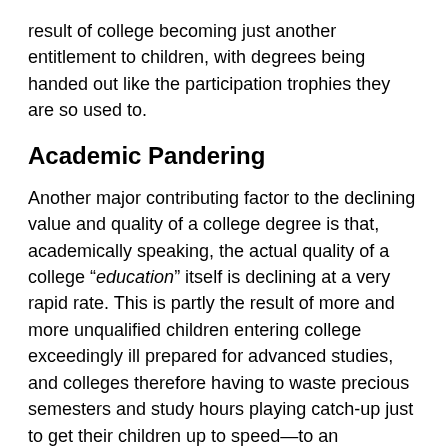result of college becoming just another entitlement to children, with degrees being handed out like the participation trophies they are so used to.
Academic Pandering
Another major contributing factor to the declining value and quality of a college degree is that, academically speaking, the actual quality of a college “education” itself is declining at a very rapid rate. This is partly the result of more and more unqualified children entering college exceedingly ill prepared for advanced studies, and colleges therefore having to waste precious semesters and study hours playing catch-up just to get their children up to speed—to an academic level they should have already been at prior to entering college in the first place. One could of course blame this retardation on the simultaneous decline in the quality of a modern public high school education, as well as the lowering of college entrance standards due to entitlement and affirmative action. But there is also another major factor. For when it comes to academics, colleges today are coddling and pandering the feelings